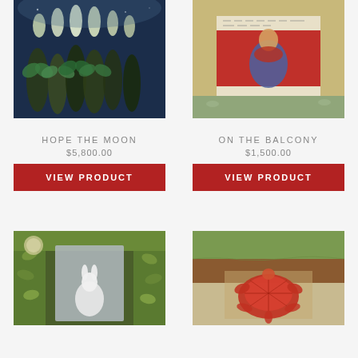[Figure (illustration): Painting of figures beneath glowing moon shapes on dark blue background - Hope The Moon artwork]
HOPE THE MOON
$5,800.00
VIEW PRODUCT
[Figure (illustration): Painting of a seated figure on a red carpet/throne with birds and script - On The Balcony artwork]
ON THE BALCONY
$1,500.00
VIEW PRODUCT
[Figure (illustration): Painting of a white rabbit/cat in a garden archway with green foliage and moon]
[Figure (illustration): Painting of a turtle with red/orange body on a landscape background]